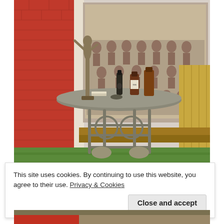[Figure (photo): Indoor display with a metal ornate table holding several bottles of spirits/gin. Behind it is a large vintage black-and-white team photograph, a bronze/silver athletic figure statue on the left, and a red brick wall with white mortar.]
This site uses cookies. By continuing to use this website, you agree to their use. Privacy & Cookies
[Figure (photo): Partial photo visible at bottom of page, cropped.]